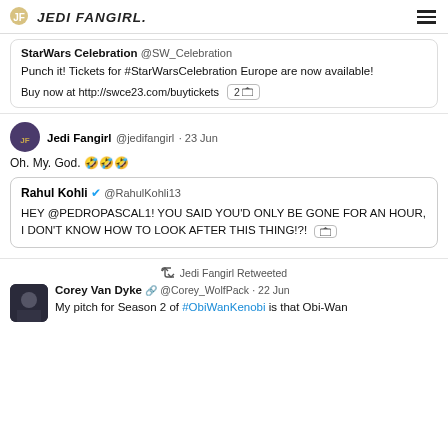JEDI FANGIRL
StarWars Celebration @SW_Celebration
Punch it! Tickets for #StarWarsCelebration Europe are now available!
Buy now at http://swce23.com/buytickets  2 [images]
Jedi Fangirl @jedifangirl · 23 Jun
Oh. My. God. 🤣🤣🤣
Rahul Kohli ✔ @RahulKohli13
HEY @PEDROPASCAL1! YOU SAID YOU'D ONLY BE GONE FOR AN HOUR, I DON'T KNOW HOW TO LOOK AFTER THIS THING!?! [image]
Jedi Fangirl Retweeted
Corey Van Dyke 🔗 @Corey_WolfPack · 22 Jun
My pitch for Season 2 of #ObiWanKenobi is that Obi-Wan